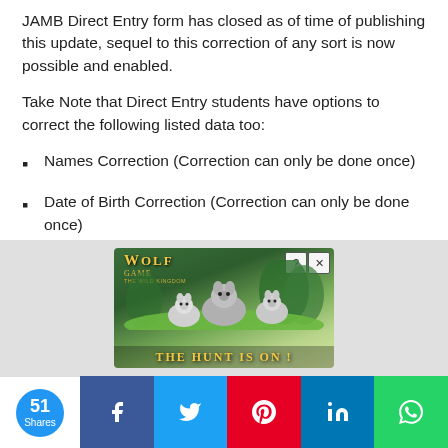JAMB Direct Entry form has closed as of time of publishing this update, sequel to this correction of any sort is now possible and enabled.
Take Note that Direct Entry students have options to correct the following listed data too:
Names Correction (Correction can only be done once)
Date of Birth Correction (Correction can only be done once)
Passport Correction (Correction can only be done
[Figure (screenshot): Advertisement banner for Wolf Game: The Wild Kingdom showing wolves and text 'THE HUNT IS ON!']
51 Shares | Facebook | Twitter | Pinterest | LinkedIn | WhatsApp